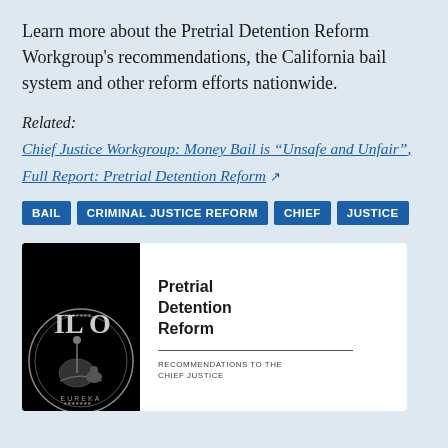Learn more about the Pretrial Detention Reform Workgroup's recommendations, the California bail system and other reform efforts nationwide.
Related:
Chief Justice Workgroup: Money Bail is “Unsafe and Unfair”,
Full Report: Pretrial Detention Reform ⧉
BAIL   CRIMINAL JUSTICE REFORM   CHIEF JUSTICE
[Figure (other): Book cover image for 'Pretrial Detention Reform: Recommendations to the Chief Justice' showing a California seal on a black background on the left side and the report title on white on the right.]